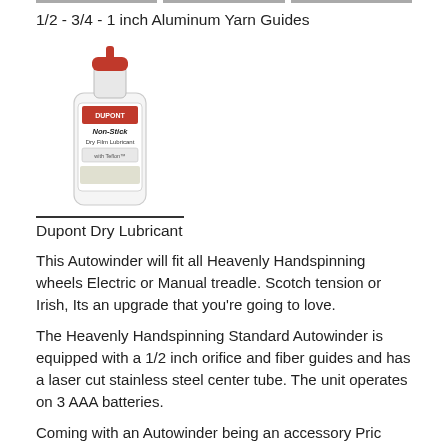[Figure (other): Three horizontal dark line segments forming a decorative border at the top of the page.]
1/2 - 3/4 - 1 inch Aluminum Yarn Guides
[Figure (photo): Photo of a Dupont Non-Stick dry lubricant bottle with a red cap, white body, and product label.]
Dupont Dry Lubricant
This Autowinder will fit all Heavenly Handspinning wheels Electric or Manual treadle. Scotch tension or Irish, Its an upgrade that you're going to love.
The Heavenly Handspinning Standard Autowinder is equipped with a 1/2 inch orifice and fiber guides and has a laser cut stainless steel center tube. The unit operates on 3 AAA batteries.
Coming with an Autowinder being an accessory Pric...